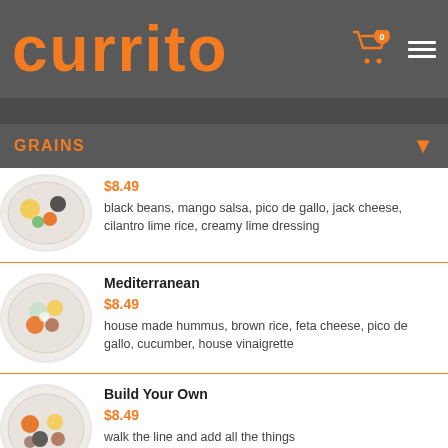[Figure (logo): Currito restaurant logo in orange text on dark gray background with shopping cart icon (badge: 0) and hamburger menu]
GRAINS
$8.49 — black beans, mango salsa, pico de gallo, jack cheese, cilantro lime rice, creamy lime dressing
Mediterranean — $8.49 — house made hummus, brown rice, feta cheese, pico de gallo, cucumber, house vinaigrette
Build Your Own — $8.49 — walk the line and add all the things